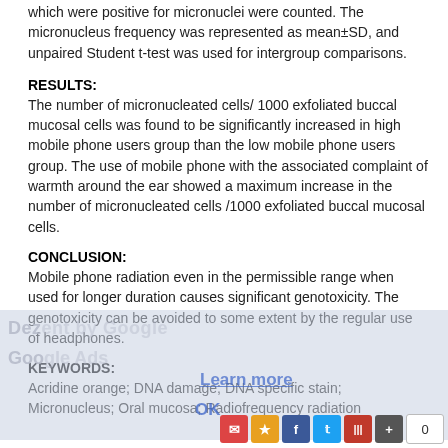which were positive for micronuclei were counted. The micronucleus frequency was represented as mean±SD, and unpaired Student t-test was used for intergroup comparisons.
RESULTS:
The number of micronucleated cells/ 1000 exfoliated buccal mucosal cells was found to be significantly increased in high mobile phone users group than the low mobile phone users group. The use of mobile phone with the associated complaint of warmth around the ear showed a maximum increase in the number of micronucleated cells /1000 exfoliated buccal mucosal cells.
CONCLUSION:
Mobile phone radiation even in the permissible range when used for longer duration causes significant genotoxicity. The genotoxicity can be avoided to some extent by the regular use of headphones.
KEYWORDS:
Acridine orange; DNA damage; DNA specific stain; Micronucleus; Oral mucosa; Radiofrequency radiation